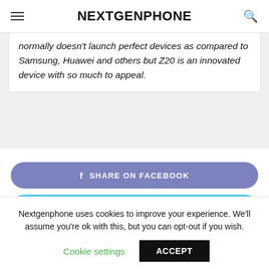NEXTGENPHONE
normally doesn't launch perfect devices as compared to Samsung, Huawei and others but Z20 is an innovated device with so much to appeal.
f  SHARE ON FACEBOOK
SHARE ON TWITTER
Nextgenphone uses cookies to improve your experience. We'll assume you're ok with this, but you can opt-out if you wish.
Cookie settings
ACCEPT